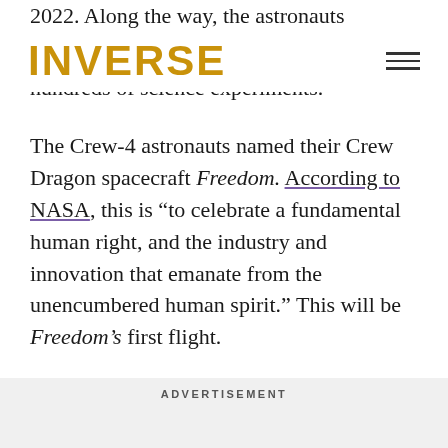2022. Along the way, the astronauts will perform hundreds of science experiments.
INVERSE
The Crew-4 astronauts named their Crew Dragon spacecraft Freedom. According to NASA, this is “to celebrate a fundamental human right, and the industry and innovation that emanate from the unencumbered human spirit.” This will be Freedom’s first flight.
ADVERTISEMENT